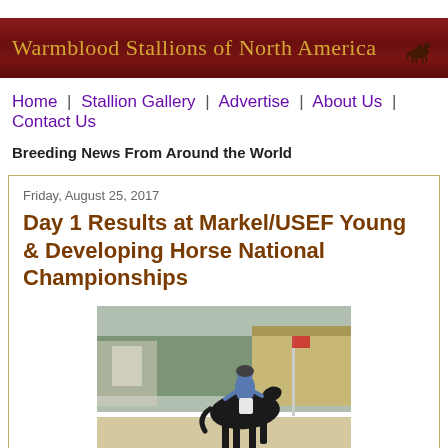Warmblood Stallions of North America
Home | Stallion Gallery | Advertise | About Us | Contact Us
Breeding News From Around the World
Friday, August 25, 2017
Day 1 Results at Markel/USEF Young & Developing Horse National Championships
[Figure (photo): Rider on a dark horse performing dressage at an outdoor arena with spectator stands and trees in the background]